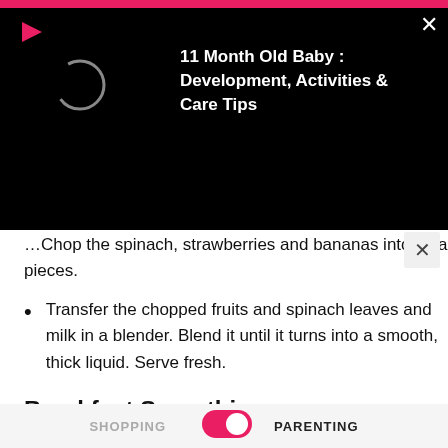[Figure (screenshot): Mobile app notification overlay with black background showing '11 Month Old Baby : Development, Activities & Care Tips' title in white bold text, a play icon (red triangle) top left, loading spinner circle, and close X top right]
Chop the spinach, strawberries and bananas into small pieces.
Transfer the chopped fruits and spinach leaves and milk in a blender. Blend it until it turns into a smooth, thick liquid. Serve fresh.
Breakfast Smoothies
The moment children wake up; they know exactly what they want for breakfast. Starting your child's day with their requested smoothie could be fulfilling as a parent.
SHOPPING   PARENTING